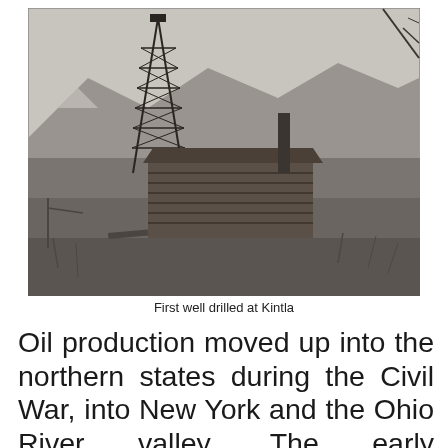[Figure (photo): Black and white historical photograph of the first oil well drilled at Kintla, showing a tall wooden derrick tower, a log cabin structure, and mountains in the background.]
First well drilled at Kintla
Oil production moved up into the northern states during the Civil War, into New York and the Ohio River valley. The early businessmen to get